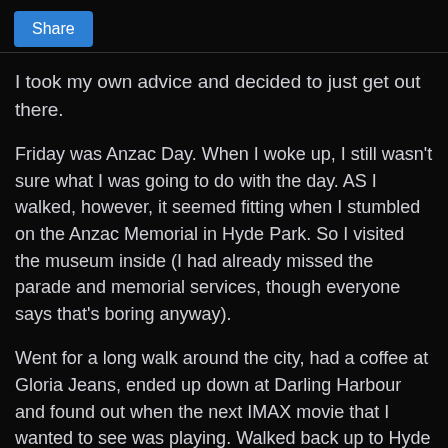Share
I took my own advice and decided to just get out there.
Friday was Anzac Day. When I woke up, I still wasn't sure what I was going to do with the day. AS I walked, however, it seemed fitting when I stumbled on the Anzac Memorial in Hyde Park. So I visited the museum inside (I had already missed the parade and memorial services, though everyone says that's boring anyway).
Went for a long walk around the city, had a coffee at Gloria Jeans, ended up down at Darling Harbour and found out when the next IMAX movie that I wanted to see was playing. Walked back up to Hyde Park to write in my journal, and was just doing so when Alex called. While we talked, all manner of wild animals passed by... bats overhead, a rat, a mouse... I decided to get up and walk. Which was nice until I stopped before the Pool of Reflection (in front of the Anzac Memorial) and an odd drunken man tried to strike up a conversation